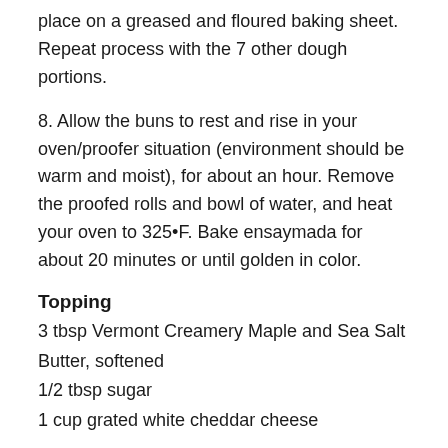place on a greased and floured baking sheet. Repeat process with the 7 other dough portions.
8. Allow the buns to rest and rise in your oven/proofer situation (environment should be warm and moist), for about an hour. Remove the proofed rolls and bowl of water, and heat your oven to 325•F. Bake ensaymada for about 20 minutes or until golden in color.
Topping
3 tbsp Vermont Creamery Maple and Sea Salt Butter, softened
1/2 tbsp sugar
1 cup grated white cheddar cheese
Mix butter and sugar together until light in consistency. Spread over baked ensaymadas and top with cheese.